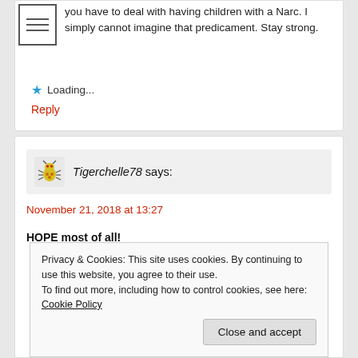you have to deal with having children with a Narc. I simply cannot imagine that predicament. Stay strong.
Loading...
Reply
Tigerchelle78 says:
November 21, 2018 at 13:27
HOPE most of all!
Privacy & Cookies: This site uses cookies. By continuing to use this website, you agree to their use.
To find out more, including how to control cookies, see here: Cookie Policy
Close and accept